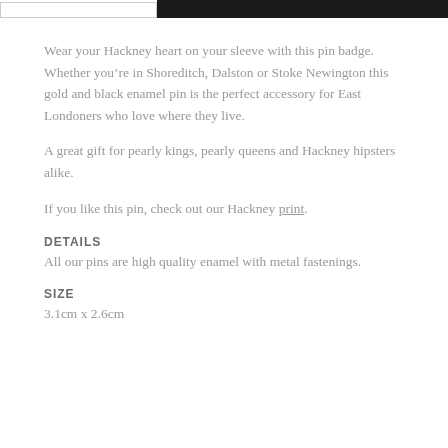Wear your Hackney heart on your sleeve with this pin badge. Whether you’re in Shoreditch, Dalston or Stoke Newington this gold and black enamel pin is the perfect accessory for East Londoners who love where they live.
A great gift for pearly kings, pearly queens and Hackney hipsters alike.
If you like this pin, check out our Hackney print.
DETAILS
All our pins are high quality enamel with metal fastenings.
SIZE
3.1cm x 2.6cm